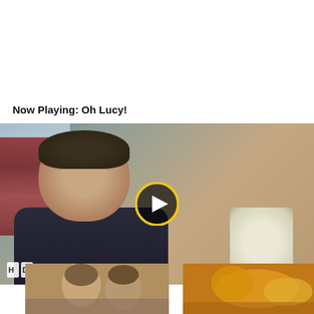Now Playing: Oh Lucy!
[Figure (screenshot): Video player showing a scene from 'Oh Lucy!' with a man in a dark hoodie, a window with red curtains on the left, a lamp in the background right. A yellow-ringed play button overlay is centered on the video. Bottom left shows a bar/HD indicator, bottom right shows time code '00:00/ 00:00'.]
[Figure (screenshot): Thumbnail image at bottom left, showing a close-up of faces, warm brownish tones.]
[Figure (screenshot): Thumbnail image at bottom right, showing golden/orange tones, appears to show a decorative or food image.]